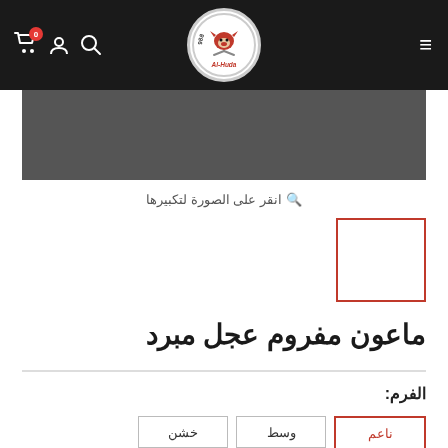[Figure (logo): Al-Huda butcher shop logo with bull head, Since 1988, crossed cleavers, navigation bar with hamburger menu, search icon, user icon, cart icon with badge 0]
[Figure (photo): Gray product image area]
انقر على الصورة لتكبيرها
[Figure (photo): Small product thumbnail with red border]
ماعون مفروم عجل مبرد
الفرم:
ناعم  وسط  خشن